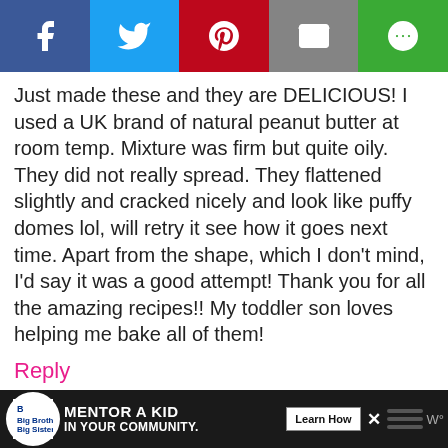[Figure (infographic): Social media share bar with Facebook, Twitter, Pinterest, Email, and another share button icons]
Just made these and they are DELICIOUS! I used a UK brand of natural peanut butter at room temp. Mixture was firm but quite oily. They did not really spread. They flattened slightly and cracked nicely and look like puffy domes lol, will retry it see how it goes next time. Apart from the shape, which I don't mind, I'd say it was a good attempt! Thank you for all the amazing recipes!! My toddler son loves helping me bake all of them!
Reply
Erin replies to Angelica Mercieca Ciantar
June 7, 2019 @ 12:53 pm
Hello again! I'm really happy to hear
[Figure (infographic): Scroll to top button]
[Figure (infographic): Ad banner: Big Brothers Big Sisters - MENTOR A KID IN YOUR COMMUNITY. Learn How button.]